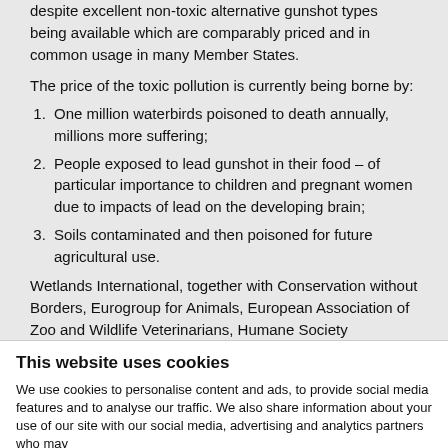despite excellent non-toxic alternative gunshot types being available which are comparably priced and in common usage in many Member States.
The price of the toxic pollution is currently being borne by:
One million waterbirds poisoned to death annually, millions more suffering;
People exposed to lead gunshot in their food – of particular importance to children and pregnant women due to impacts of lead on the developing brain;
Soils contaminated and then poisoned for future agricultural use.
Wetlands International, together with Conservation without Borders, Eurogroup for Animals, European Association of Zoo and Wildlife Veterinarians, Humane Society International, International Fund for Animal Welfare, Migratory Birds for People and WWF, co-operate and lobbied for lead pollution...
This website uses cookies
We use cookies to personalise content and ads, to provide social media features and to analyse our traffic. We also share information about your use of our site with our social media, advertising and analytics partners who may